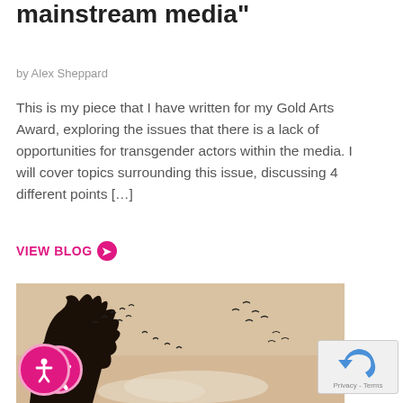mainstream media"
by Alex Sheppard
This is my piece that I have written for my Gold Arts Award, exploring the issues that there is a lack of opportunities for transgender actors within the media. I will cover topics surrounding this issue, discussing 4 different points [...]
VIEW BLOG ➔
[Figure (photo): Sepia-toned photograph of birds flying in the sky over a silhouetted tree, with soft clouds below]